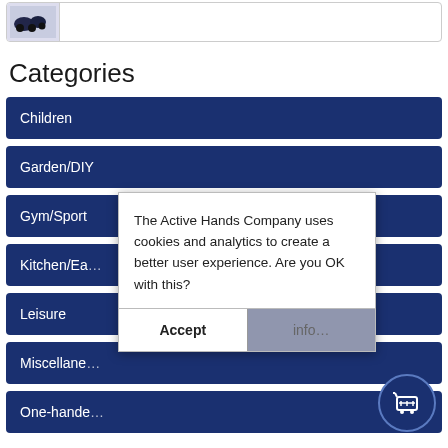[Figure (photo): Product thumbnail image showing dark colored item, partially visible at top of page]
Categories
Children
Garden/DIY
Gym/Sport
Kitchen/Ea...
Leisure
Miscellaned...
One-hande...
The Active Hands Company uses cookies and analytics to create a better user experience. Are you OK with this?
Accept
info...